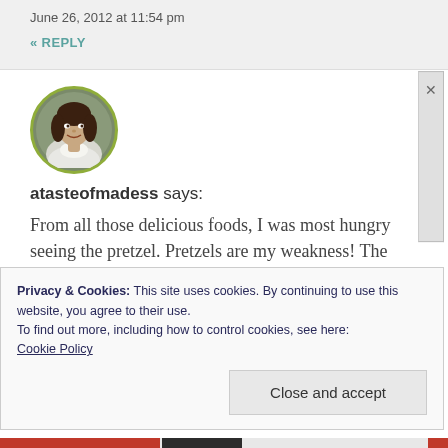June 26, 2012 at 11:54 pm
« REPLY
[Figure (photo): Circular avatar photo of a woman with dark hair, framed by a green/olive circle border]
atasteofmadess says:
From all those delicious foods, I was most hungry seeing the pretzel. Pretzels are my weakness! The lemonade looks so refreshing! I would like some when it gets hot here..
Privacy & Cookies: This site uses cookies. By continuing to use this website, you agree to their use.
To find out more, including how to control cookies, see here:
Cookie Policy
Close and accept